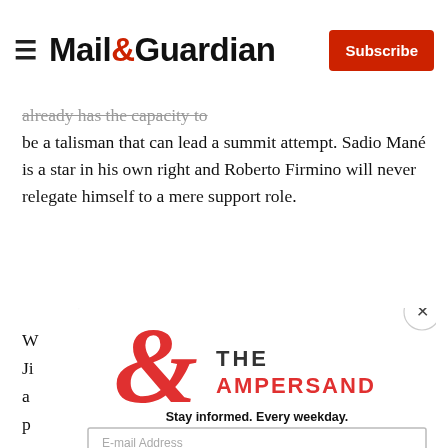Mail&Guardian — Subscribe
...already has the capacity to be a talisman that can lead a summit attempt. Sadio Mané is a star in his own right and Roberto Firmino will never relegate himself to a mere support role.
[Figure (screenshot): Modal popup overlay for 'The Ampersand' newsletter subscription from Mail & Guardian. Shows a large red ampersand logo with text 'THE AMPERSAND', tagline 'Stay informed. Every weekday.', an email address input field, and a red 'Signup now' button. A close (X) button is in the top right corner of the modal.]
Background article text partially visible behind modal